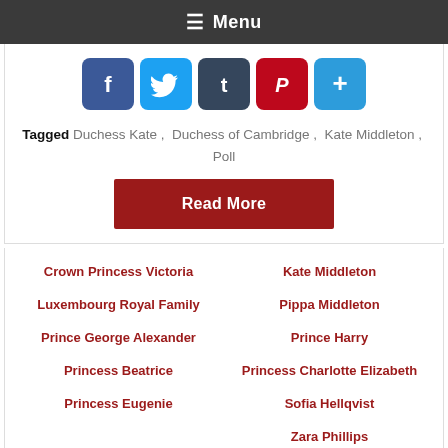Menu
[Figure (infographic): Social media share buttons: Facebook, Twitter, Tumblr, Pinterest, and a plus/more button]
Tagged Duchess Kate , Duchess of Cambridge , Kate Middleton , Poll
Read More
Crown Princess Victoria
Kate Middleton
Luxembourg Royal Family
Pippa Middleton
Prince George Alexander
Prince Harry
Princess Beatrice
Princess Charlotte Elizabeth
Princess Eugenie
Sofia Hellqvist
Zara Phillips